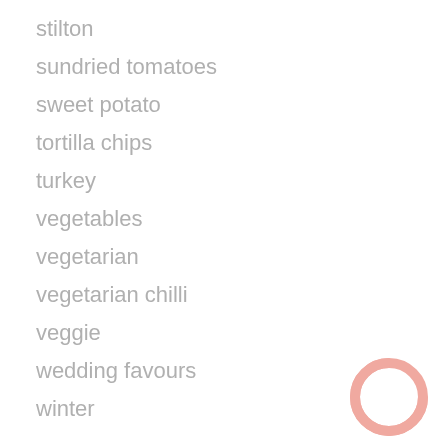stilton
sundried tomatoes
sweet potato
tortilla chips
turkey
vegetables
vegetarian
vegetarian chilli
veggie
wedding favours
winter
[Figure (logo): Pink ring/circle logo in bottom right corner]